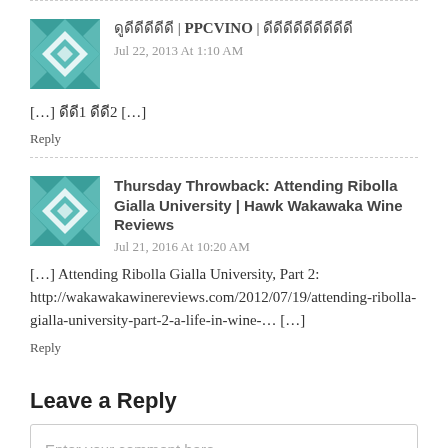[Figure (illustration): Teal geometric quilt-pattern avatar icon for first comment]
ดูดีดีดีดีดี | PPCVINO | ดีดีดีดีดีดีดีดีดี
Jul 22, 2013 At 1:10 AM
[…] ดีดี1 ดีดี2 […]
Reply
[Figure (illustration): Teal geometric quilt-pattern avatar icon for second comment]
Thursday Throwback: Attending Ribolla Gialla University | Hawk Wakawaka Wine Reviews
Jul 21, 2016 At 10:20 AM
[…] Attending Ribolla Gialla University, Part 2: http://wakawakawinereviews.com/2012/07/19/attending-ribolla-gialla-university-part-2-a-life-in-wine-… […]
Reply
Leave a Reply
Enter your comment here...